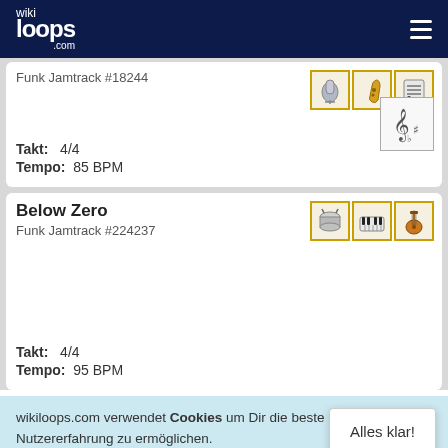wikiloops.com
Funk Jamtrack #18244
Takt: 4/4
Tempo: 85 BPM
[Figure (illustration): Three instrument icons: microphone, saxophone, sheet music]
[Figure (illustration): Music key/clef symbol icon]
Below Zero
Funk Jamtrack #224237
Takt: 4/4
Tempo: 95 BPM
[Figure (illustration): Three instrument icons: drum, keyboard, guitar]
wikiloops.com verwendet Cookies um Dir die beste Nutzererfahrung zu ermöglichen. Lies mehr in unseren Datenschutzbestimmungen .